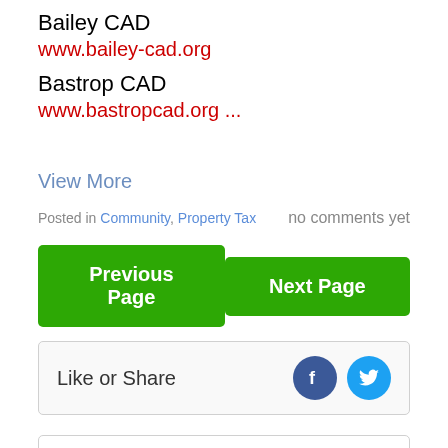Bailey CAD
www.bailey-cad.org
Bastrop CAD
www.bastropcad.org ...
View More
Posted in Community, Property Tax    no comments yet
Previous Page
Next Page
Like or Share
North Texas Home Finder - MLS Search